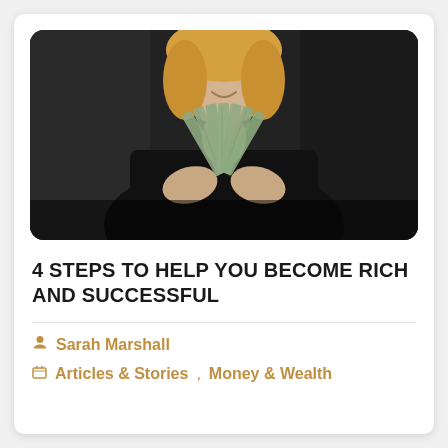[Figure (photo): A smiling blonde woman in a black outfit holding a fan of US $100 bills spread out in front of her, photographed in a dark background setting.]
4 STEPS TO HELP YOU BECOME RICH AND SUCCESSFUL
Sarah Marshall
Articles & Stories, Money & Wealth